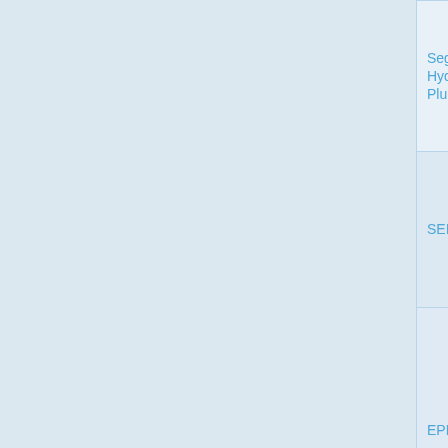| Name | Status | Type |
| --- | --- | --- |
| Segment 3, Hydrothermal Plume Site | active, inferred | mid-ocean ridge |
| SEIR-WXC02 | active, inferred | mid-ocean ridge |
| EPR, 17 44'S | active, confirmed | mid-ocean ridge |
| Lucky Strike | active, confirmed | mid-ocean ridge |
|  |  |  |